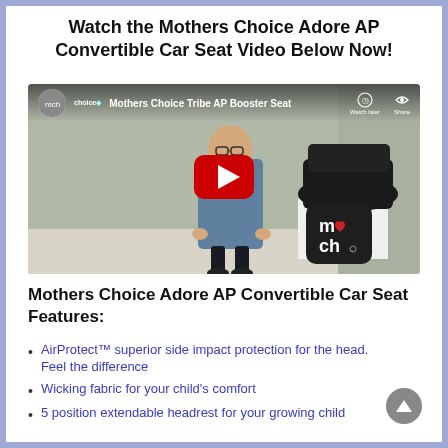Watch the Mothers Choice Adore AP Convertible Car Seat Video Below Now!
[Figure (screenshot): YouTube video thumbnail showing a man standing in a room holding car seats, with a Mothers Choice (moch) logo box in front. Video title: Mothers Choice Tribe AP Booster Seat. YouTube play button overlay visible.]
Mothers Choice Adore AP Convertible Car Seat Features:
AirProtect™ superior side impact protection for the head. Feel the difference
Wicking fabric for your child's comfort
5 position extendable headrest for your growing child